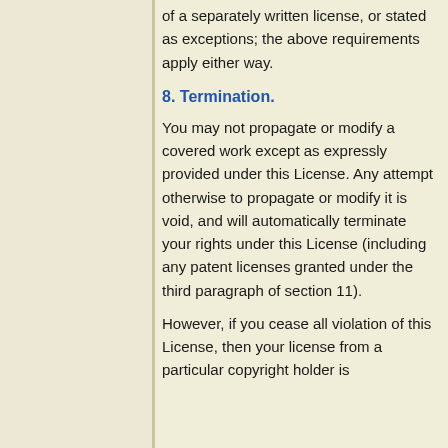of a separately written license, or stated as exceptions; the above requirements apply either way.
8. Termination.
You may not propagate or modify a covered work except as expressly provided under this License. Any attempt otherwise to propagate or modify it is void, and will automatically terminate your rights under this License (including any patent licenses granted under the third paragraph of section 11).
However, if you cease all violation of this License, then your license from a particular copyright holder is